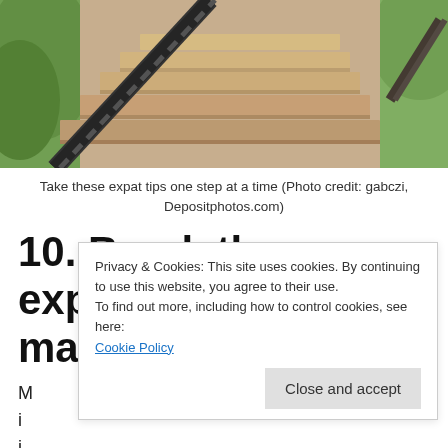[Figure (photo): Photo of outdoor stairs with green foliage and a dark metal railing in the foreground, brick steps in background]
Take these expat tips one step at a time (Photo credit: gabczi, Depositphotos.com)
10. Break these expat tips into manageable steps.
M... i... i... ti...
when it's time to move. This is a once in a
Privacy & Cookies: This site uses cookies. By continuing to use this website, you agree to their use. To find out more, including how to control cookies, see here: Cookie Policy